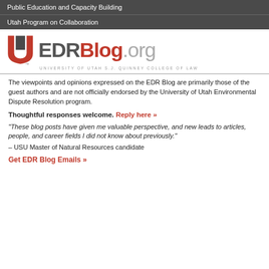Public Education and Capacity Building
Utah Program on Collaboration
[Figure (logo): EDRBlog.org logo with University of Utah block U in red, EDRBlog in dark gray and red, .org in light gray, with University of Utah S.J. Quinney College of Law text below]
The viewpoints and opinions expressed on the EDR Blog are primarily those of the guest authors and are not officially endorsed by the University of Utah Environmental Dispute Resolution program.
Thoughtful responses welcome. Reply here »
“These blog posts have given me valuable perspective, and new leads to articles, people, and career fields I did not know about previously.” – USU Master of Natural Resources candidate
Get EDR Blog Emails »